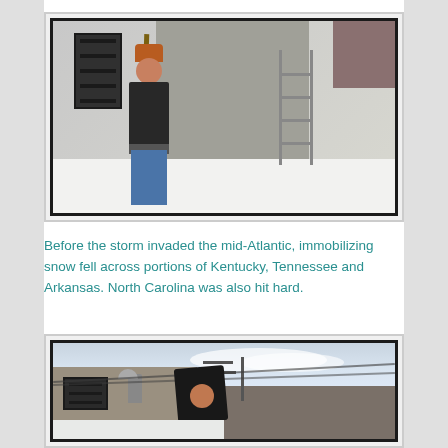[Figure (photo): A person wearing a dark jacket, blue jeans, and an orange beanie stands on a snow-covered rooftop holding a long pole or shovel. A grey building wall and barred windows are visible in the background along with a metal ladder.]
Before the storm invaded the mid-Atlantic, immobilizing snow fell across portions of Kentucky, Tennessee and Arkansas. North Carolina was also hit hard.
[Figure (photo): A person crouching on a snow-covered rooftop of a building. TV antenna and utility lines are visible against a partly cloudy sky. Urban buildings are visible in the background.]